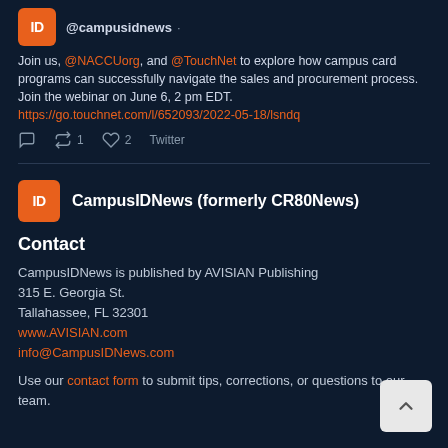@campusidnews
Join us, @NACCUorg, and @TouchNet to explore how campus card programs can successfully navigate the sales and procurement process. Join the webinar on June 6, 2 pm EDT. https://go.touchnet.com/l/652093/2022-05-18/lsndq
1 retweet  2 likes  Twitter
CampusIDNews (formerly CR80News)
Contact
CampusIDNews is published by AVISIAN Publishing
315 E. Georgia St.
Tallahassee, FL 32301
www.AVISIAN.com
info@CampusIDNews.com
Use our contact form to submit tips, corrections, or questions to our team.